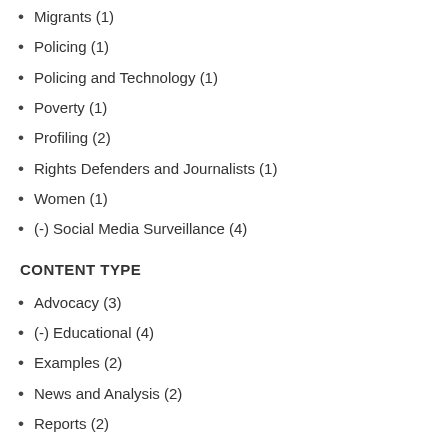Migrants (1)
Policing (1)
Policing and Technology (1)
Poverty (1)
Profiling (2)
Rights Defenders and Journalists (1)
Women (1)
(-) Social Media Surveillance (4)
CONTENT TYPE
Advocacy (3)
(-) Educational (4)
Examples (2)
News and Analysis (2)
Reports (2)
Stories (3)
Tech (1)
AUTHORED ON